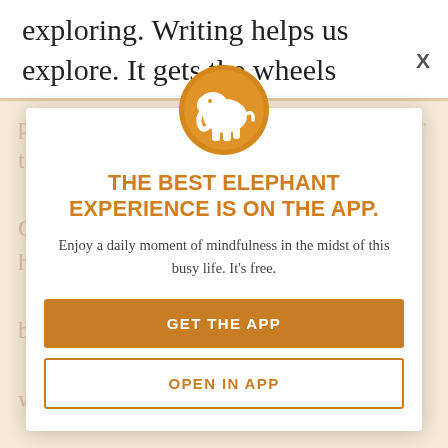exploring. Writing helps us explore. It gets the wheels churning and the creativity
[Figure (infographic): App promotion modal overlay on a webpage. Contains an elephant logo (white elephant on orange circle), headline text, subtext, and two buttons.]
THE BEST ELEPHANT EXPERIENCE IS ON THE APP.
Enjoy a daily moment of mindfulness in the midst of this busy life. It's free.
GET THE APP
OPEN IN APP